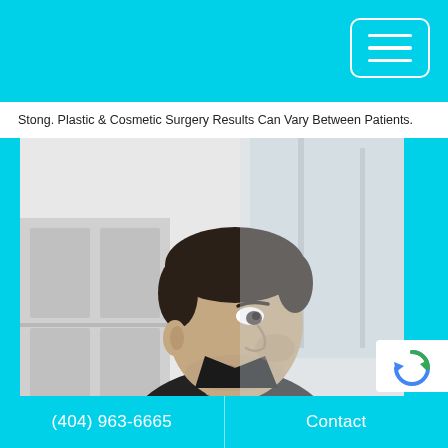Stong. Plastic & Cosmetic Surgery Results Can Vary Between Patients.
[Figure (photo): Black and white photograph of a male plastic surgeon in dark scrubs, looking to the side, in a medical office setting with windows in the background.]
(404) 963-6665   Contact